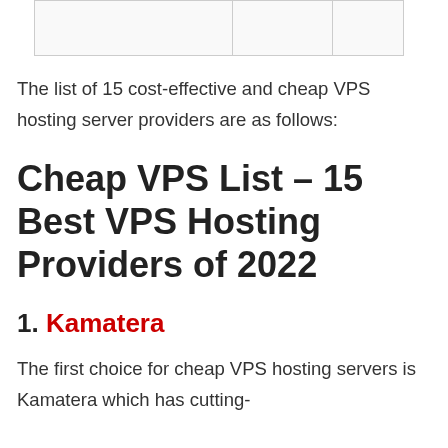|   |   |   |
The list of 15 cost-effective and cheap VPS hosting server providers are as follows:
Cheap VPS List – 15 Best VPS Hosting Providers of 2022
1. Kamatera
The first choice for cheap VPS hosting servers is Kamatera which has cutting-